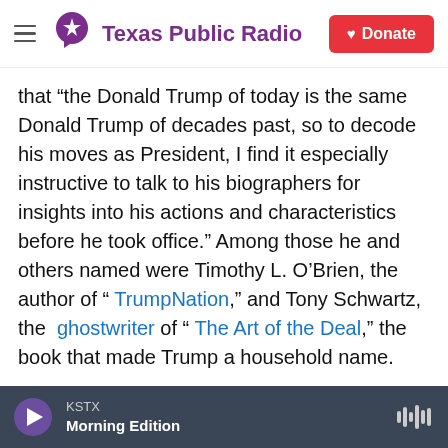Texas Public Radio — Donate
that “the Donald Trump of today is the same Donald Trump of decades past, so to decode his moves as President, I find it especially instructive to talk to his biographers for insights into his actions and characteristics before he took office.” Among those he and others named were Timothy L. O’Brien, the author of “ TrumpNation,” and Tony Schwartz, the  ghostwriter of “ The Art of the Deal,” the book that made Trump a household name. Another White House correspondent recommended “ Trumped!,” a tell-all by one of Trump’s former casino executives, Jack O’Donnell. “All the same traits repeat themselves now,” the
KSTX — Morning Edition